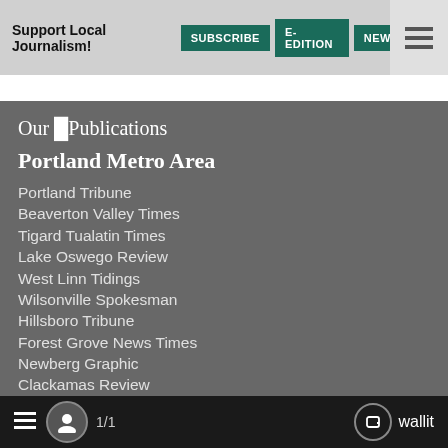Support Local Journalism! SUBSCRIBE E-EDITION NEWSLET
Our █Publications
Portland Metro Area
Portland Tribune
Beaverton Valley Times
Tigard Tualatin Times
Lake Oswego Review
West Linn Tidings
Wilsonville Spokesman
Hillsboro Tribune
Forest Grove News Times
Newberg Graphic
Clackamas Review
Oregon City News
1/1  wallit